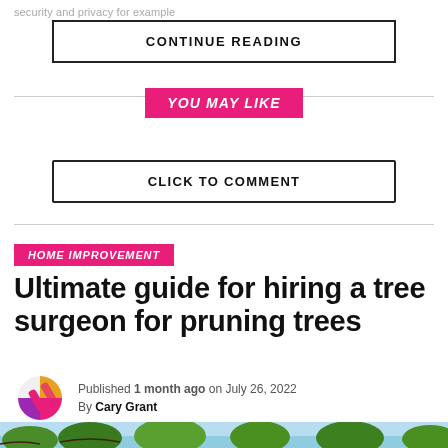security and privacy for example
CONTINUE READING
YOU MAY LIKE
CLICK TO COMMENT
HOME IMPROVEMENT
Ultimate guide for hiring a tree surgeon for pruning trees
Published 1 month ago on July 26, 2022 By Cary Grant
[Figure (photo): Tree canopy photo at the bottom of the page]